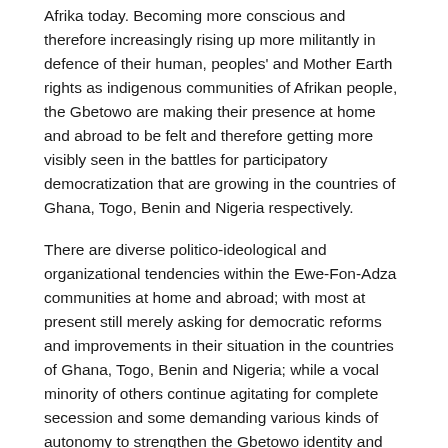Afrika today. Becoming more conscious and therefore increasingly rising up more militantly in defence of their human, peoples' and Mother Earth rights as indigenous communities of Afrikan people, the Gbetowo are making their presence at home and abroad to be felt and therefore getting more visibly seen in the battles for participatory democratization that are growing in the countries of Ghana, Togo, Benin and Nigeria respectively.
There are diverse politico-ideological and organizational tendencies within the Ewe-Fon-Adza communities at home and abroad; with most at present still merely asking for democratic reforms and improvements in their situation in the countries of Ghana, Togo, Benin and Nigeria; while a vocal minority of others continue agitating for complete secession and some demanding various kinds of autonomy to strengthen the Gbetowo identity and national self-determination. Among all of these groupings, our ABLODEDUNOVISIHA Gbetowo Global Union for Pan-Afrikan Community Regeneration stands out for a unique position creatively advocating defence of the human, peoples' and Mother Earth rights of the Ewe-Fon-Adza communities in unification as indigenous Afrikan people's rights by way of